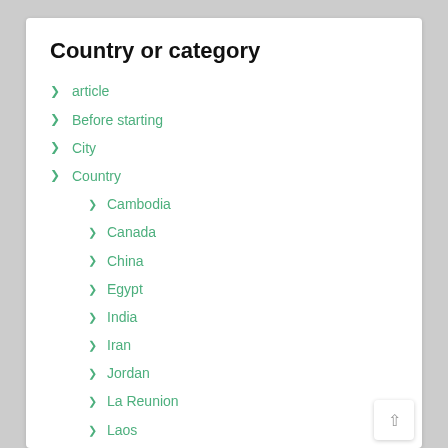Country or category
article
Before starting
City
Country
Cambodia
Canada
China
Egypt
India
Iran
Jordan
La Reunion
Laos
Madagascar
Mongolia